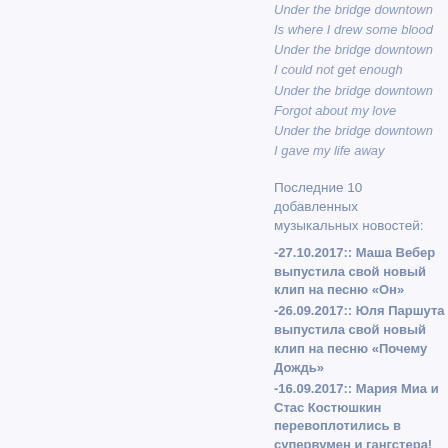Under the bridge downtown
Is where I drew some blood
Under the bridge downtown
I could not get enough
Under the bridge downtown
Forgot about my love
Under the bridge downtown
I gave my life away
Последние 10 добавленных музыкальных новостей:
-27.10.2017:: Маша Вебер выпустила свой новый клип на песню «Он»
-26.09.2017:: Юля Паршута выпустила свой новый клип на песню «Почему Дождь»
-16.09.2017:: Мария Миа и Стас Костюшкин перевоплотились в супервумен и гангстера!
-16.08.2017:: Саша Холидей поделилась с поклонниками новым синглом «Into my heart» и новостью о будущем ребенке!